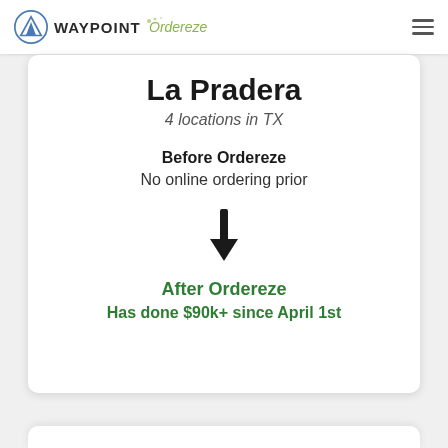WAYPOINT Ordereze
La Pradera
4 locations in TX
Before Ordereze
No online ordering prior
[Figure (other): Downward arrow indicating transition from before to after]
After Ordereze
Has done $90k+ since April 1st